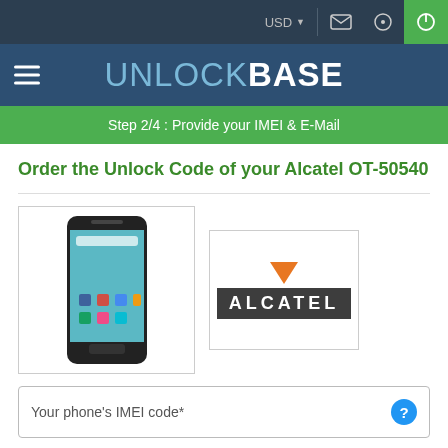USD
[Figure (logo): UNLOCKBASE website logo in blue header bar with hamburger menu]
Step 2/4 : Provide your IMEI & E-Mail
Order the Unlock Code of your Alcatel OT-50540
[Figure (photo): Alcatel OT-50540 smartphone with teal home screen showing app icons]
[Figure (logo): Alcatel brand logo with orange downward triangle above ALCATEL wordmark on dark background]
Your phone's IMEI code*